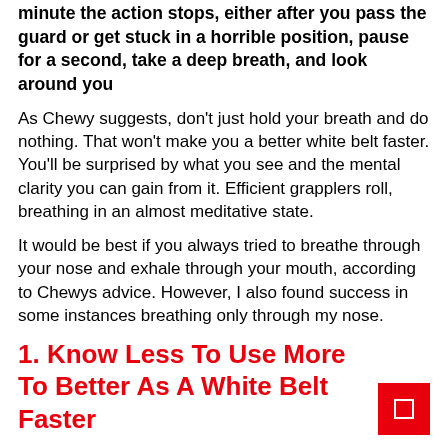minute the action stops, either after you pass the guard or get stuck in a horrible position, pause for a second, take a deep breath, and look around you.
As Chewy suggests, don't just hold your breath and do nothing. That won't make you a better white belt faster. You'll be surprised by what you see and the mental clarity you can gain from it. Efficient grapplers roll, breathing in an almost meditative state.
It would be best if you always tried to breathe through your nose and exhale through your mouth, according to Chewys advice. However, I also found success in some instances breathing only through my nose.
1. Know Less To Use More To Better As A White Belt Faster